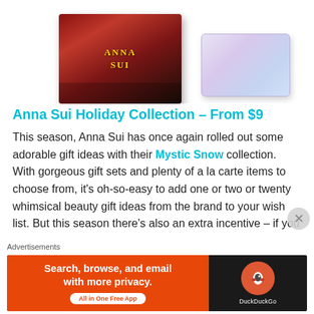[Figure (photo): Anna Sui holiday gift box (red/black decorative packaging with perfume bottles) on the left, and a decorative tin box (light blue/purple floral pattern) on the right, both partially cropped at the top of the page.]
Anna Sui Holiday Collection – From $9
This season, Anna Sui has once again rolled out some adorable gift ideas with their Mystic Snow collection. With gorgeous gift sets and plenty of a la carte items to choose from, it's oh-so-easy to add one or two or twenty whimsical beauty gift ideas from the brand to your wish list. But this season there's also an extra incentive – if you spend $80 on Anna Sui Cosmetics at Hudson's Bay, you'll actually get to nab a gorgeous, limited edition tin box that's perfect for stashing your beauty loot this holiday season. The tin
Advertisements
[Figure (screenshot): DuckDuckGo advertisement banner: orange left panel reading 'Search, browse, and email with more privacy. All in One Free App' with white button, and dark right panel with DuckDuckGo logo and name.]